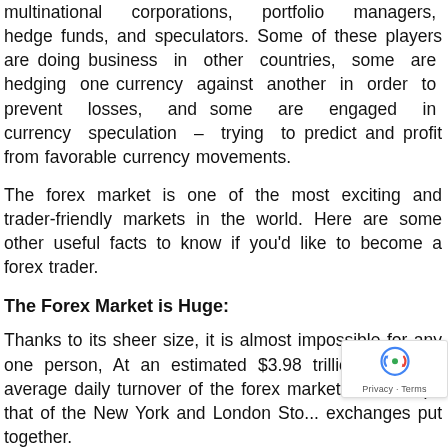multinational corporations, portfolio managers, hedge funds, and speculators. Some of these players are doing business in other countries, some are hedging one currency against another in order to prevent losses, and some are engaged in currency speculation – trying to predict and profit from favorable currency movements.
The forex market is one of the most exciting and trader-friendly markets in the world. Here are some other useful facts to know if you'd like to become a forex trader.
The Forex Market is Huge:
Thanks to its sheer size, it is almost impossible for any one person, At an estimated $3.98 trillion plus, the average daily turnover of the forex market ea... trumps that of the New York and London Sto... exchanges put together.